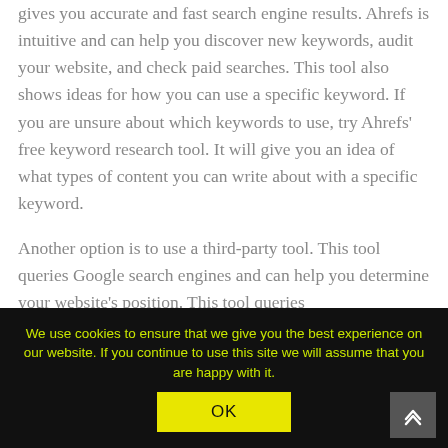gives you accurate and fast search engine results. Ahrefs is intuitive and can help you discover new keywords, audit your website, and check paid searches. This tool also shows ideas for how you can use a specific keyword. If you are unsure about which keywords to use, try Ahrefs' free keyword research tool. It will give you an idea of what types of content you can write about with a specific keyword.
Another option is to use a third-party tool. This tool queries Google search engines and can help you determine your website's position. This tool queries Google search engines and can help you
We use cookies to ensure that we give you the best experience on our website. If you continue to use this site we will assume that you are happy with it.